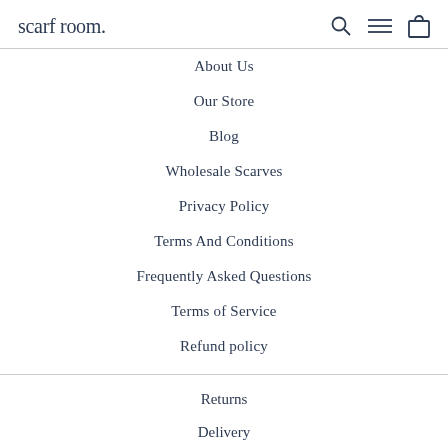scarf room.
About Us
Our Store
Blog
Wholesale Scarves
Privacy Policy
Terms And Conditions
Frequently Asked Questions
Terms of Service
Refund policy
Returns
Delivery
Contact Us